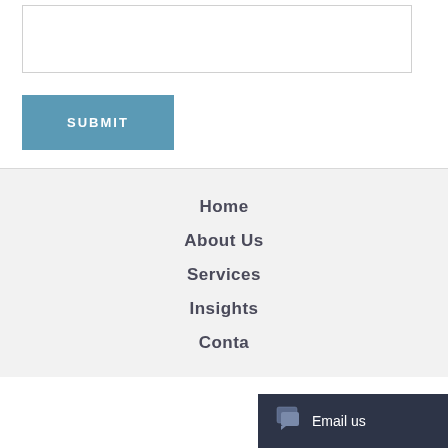[Figure (other): Empty text input/textarea box with border]
SUBMIT
Home
About Us
Services
Insights
Contac...
Home
About Us
Services
Insights
Contact
Email us